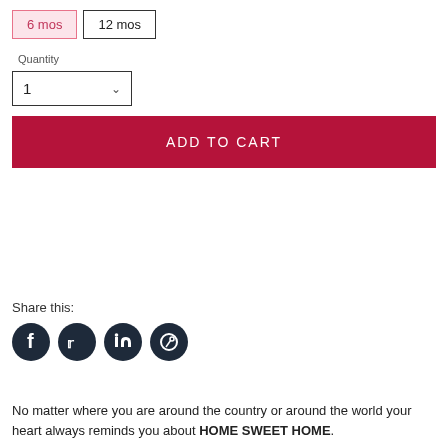6 mos | 12 mos
Quantity 1
ADD TO CART
Share this:
[Figure (infographic): Social media share icons: Facebook, Twitter, LinkedIn, Pinterest — dark circle buttons]
No matter where you are around the country or around the world your heart always reminds you about HOME SWEET HOME.